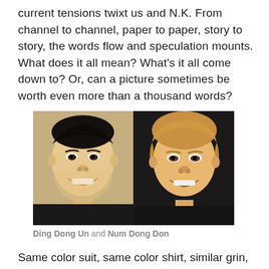current tensions twixt us and N.K. From channel to channel, paper to paper, story to story, the words flow and speculation mounts. What does it all mean? What's it all come down to? Or, can a picture sometimes be worth even more than a thousand words?
[Figure (photo): Side-by-side portrait photos of two political figures: left photo shows Kim Jong Un (labeled 'Ding Dong Un') smiling in a dark suit with tie, against a warm background; right photo shows Donald Trump (labeled 'Num Dong Don') smiling in a dark suit with red and white striped tie, against a dark background.]
Ding Dong Un and Num Dong Don
Same color suit, same color shirt, similar grin, similar